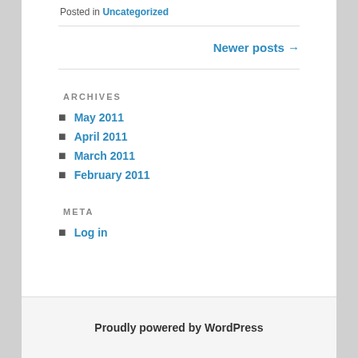Posted in Uncategorized
Newer posts →
ARCHIVES
May 2011
April 2011
March 2011
February 2011
META
Log in
Proudly powered by WordPress